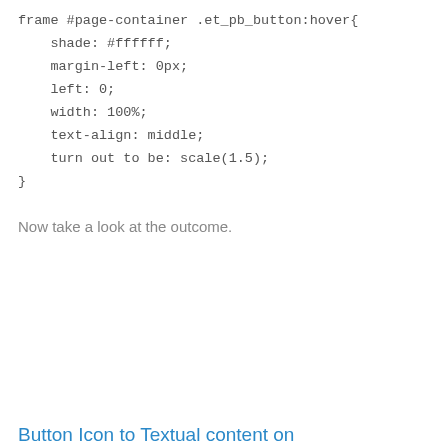frame #page-container .et_pb_button:hover{
    shade: #ffffff;
    margin-left: 0px;
    left: 0;
    width: 100%;
    text-align: middle;
    turn out to be: scale(1.5);
}
Now take a look at the outcome.
[Figure (screenshot): A blue button with 'Click Here' text and a right-arrow icon, with a hand cursor pointer below it. Navigation arrows (chevrons) appear on the left and right sides of the slide.]
Button Icon to Textual content on